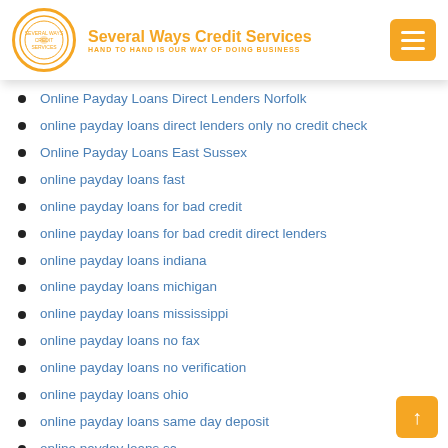Several Ways Credit Services — HAND TO HAND IS OUR WAY OF DOING BUSINESS
Online Payday Loans Direct Lenders Norfolk
online payday loans direct lenders only no credit check
Online Payday Loans East Sussex
online payday loans fast
online payday loans for bad credit
online payday loans for bad credit direct lenders
online payday loans indiana
online payday loans michigan
online payday loans mississippi
online payday loans no fax
online payday loans no verification
online payday loans ohio
online payday loans same day deposit
online payday loans sc
online payday loans that accept metabank
online payday loans with prepaid debit card
Online Personal Loans Direct Lenders Indiana
Online Personal Loans Direct Lenders Ohio
Online Personal Loans Direct Lenders WA